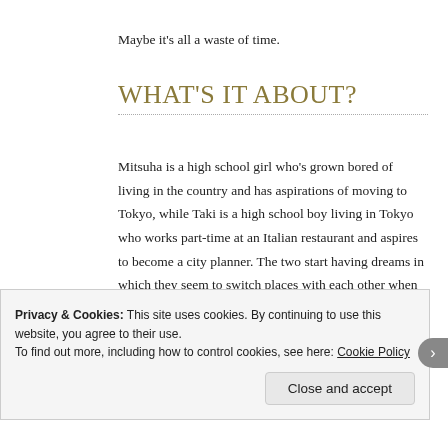Maybe it's all a waste of time.
What's it about?
Mitsuha is a high school girl who's grown bored of living in the country and has aspirations of moving to Tokyo, while Taki is a high school boy living in Tokyo who works part-time at an Italian restaurant and aspires to become a city planner. The two start having dreams in which they seem to switch places with each other when they fall asleep, an occurrence that seems at first to be nothing more than a few flights of fancy but eventually proves to be true. Rather than fight the
Privacy & Cookies: This site uses cookies. By continuing to use this website, you agree to their use.
To find out more, including how to control cookies, see here: Cookie Policy

Close and accept